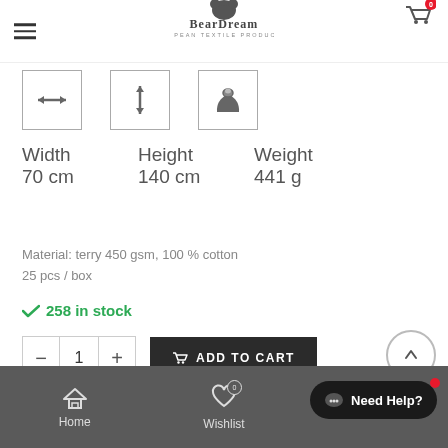BearDream European Textile Production
[Figure (infographic): Three icons in bordered squares: left-right arrow (Width), up-down arrow (Height), weight/scale (Weight)]
Width 70 cm
Height 140 cm
Weight 441 g
Material: terry 450 gsm, 100 % cotton
25 pcs / box
✓ 258 in stock
- 1 + ADD TO CART
Home   Wishlist   Contact us   Need Help?